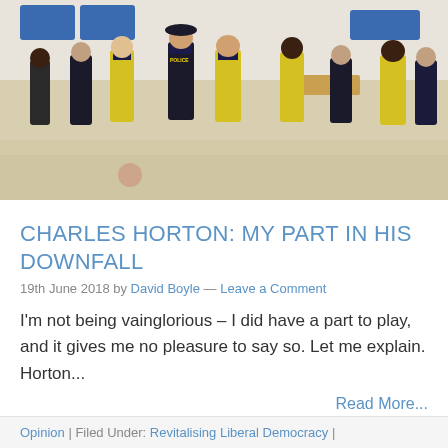[Figure (photo): Photo of police officers and security personnel in yellow high-visibility vests standing inside a train station hall with a shiny tiled floor.]
CHARLES HORTON: MY PART IN HIS DOWNFALL
19th June 2018 by David Boyle — Leave a Comment
I'm not being vainglorious – I did have a part to play, and it gives me no pleasure to say so. Let me explain. Horton...
Read More...
Opinion | Filed Under: Revitalising Liberal Democracy |